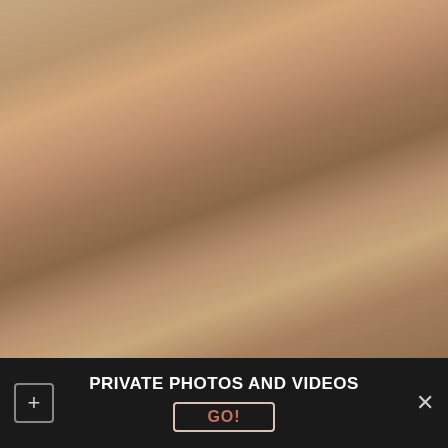[Figure (photo): Outdoor photo of a smiling older man with white beard sitting shirtless in a chair at what appears to be a poolside or outdoor venue. Another shirtless person is partially visible to the left.]
PRIVATE PHOTOS AND VIDEOS
GO!